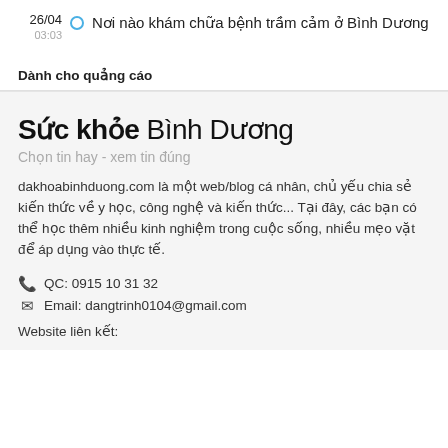26/04 03:03  Nơi nào khám chữa bệnh trầm cảm ở Bình Dương
Dành cho quảng cáo
Sức khỏe Bình Dương
Chọn tin hay - xem tin đúng
dakhoabinhduong.com là một web/blog cá nhân, chủ yếu chia sẻ kiến thức về y học, công nghệ và kiến thức... Tại đây, các bạn có thể học thêm nhiều kinh nghiệm trong cuộc sống, nhiều mẹo vặt để áp dụng vào thực tế.
QC: 0915 10 31 32
Email: dangtrinh0104@gmail.com
Website liên kết: